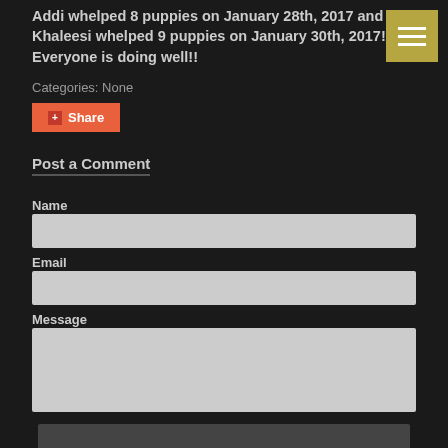Addi whelped 8 puppies on January 28th, 2017 and Khaleesi whelped 9 puppies on January 30th, 2017!! Everyone is doing well!!
[Figure (other): Menu icon with three horizontal lines on a gold/olive background]
Categories: None
Share
Post a Comment
Name
Email
Message